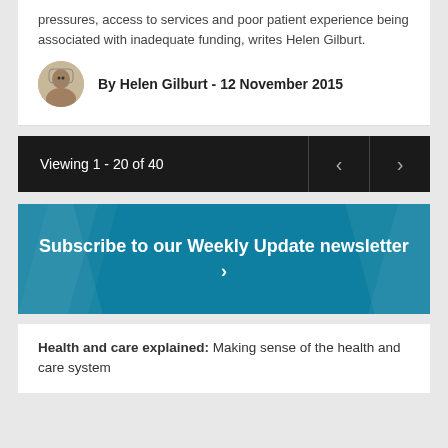pressures, access to services and poor patient experience being associated with inadequate funding, writes Helen Gilburt.
By Helen Gilburt - 12 November 2015
Viewing 1 - 20 of 40
[Figure (other): Subscribe to our Weekly Update newsletter > banner in teal/blue with decorative diagonal stripes]
Health and care explained: Making sense of the health and care system